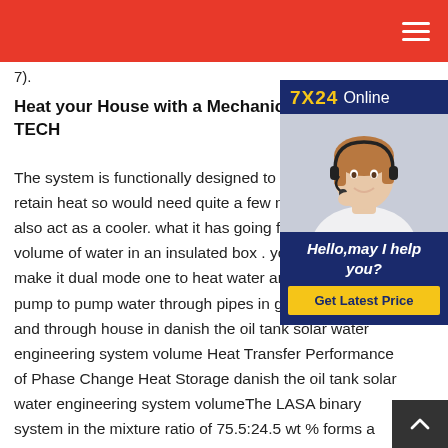7).
Heat your House with a Mechanical W... TECH
The system is functionally designed to retain heat so would need quite a few m also act as a cooler. what it has going fo volume of water in an insulated box . yo make it dual mode one to heat water an pump to pump water through pipes in g and through house in danish the oil tank solar water engineering system volume Heat Transfer Performance of Phase Change Heat Storage danish the oil tank solar water engineering system volumeThe LASA binary system in the mixture ratio of 75.5:24.5 wt % forms a
[Figure (photo): 7X24 Online chat widget with a female customer service agent wearing a headset, smiling. Blue background with text 'Hello, may I help you?' and a yellow 'Get Latest Price' button.]